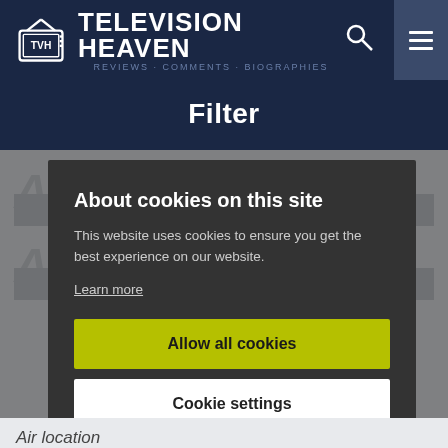TELEVISION HEAVEN
Filter
About cookies on this site
This website uses cookies to ensure you get the best experience on our website.
Learn more
Allow all cookies
Cookie settings
Air location